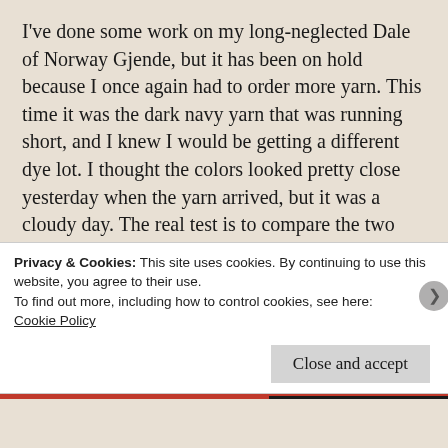I've done some work on my long-neglected Dale of Norway Gjende, but it has been on hold because I once again had to order more yarn. This time it was the dark navy yarn that was running short, and I knew I would be getting a different dye lot. I thought the colors looked pretty close yesterday when the yarn arrived, but it was a cloudy day. The real test is to compare the two colors in bright sunlight and today is sunny, the two dye lots are nearly identical, and all is well in the world. Well, except for that pesky little economic meltdown, but that's a topic for another day.
I don't think the very slight difference in the color of the old and new yarn will be noticeable. But if it is, I'll try the alternating trick, i.e., I'll knit a round with the old yarn,
Privacy & Cookies: This site uses cookies. By continuing to use this website, you agree to their use. To find out more, including how to control cookies, see here: Cookie Policy
Close and accept